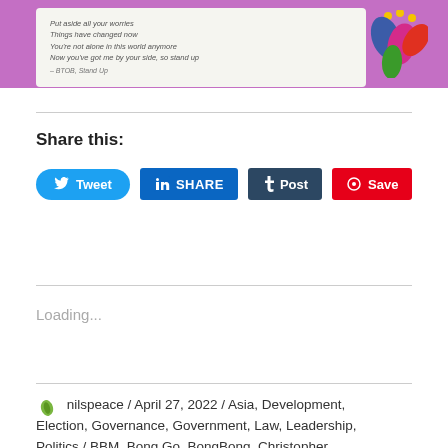[Figure (illustration): Pink/purple background card with italic quote text and colorful flower logo in the top right. Quote reads: Put aside all your worries / Things have changed now / You're not alone in this world anymore / Now you've got me by your side, so stand up / — BTOB, Stand Up]
Share this:
Tweet    SHARE    Post    Save
Loading...
nilspeace / April 27, 2022 / Asia, Development, Election, Governance, Government, Law, Leadership, Politics / BBM, Bong Go, BongBong, Christopher